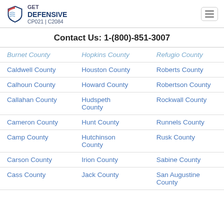GET DEFENSIVE CP021 | C2084
Contact Us: 1-(800)-851-3007
| Column 1 | Column 2 | Column 3 |
| --- | --- | --- |
| Burnet County | Hopkins County | Refugio County |
| Caldwell County | Houston County | Roberts County |
| Calhoun County | Howard County | Robertson County |
| Callahan County | Hudspeth County | Rockwall County |
| Cameron County | Hunt County | Runnels County |
| Camp County | Hutchinson County | Rusk County |
| Carson County | Irion County | Sabine County |
| Cass County | Jack County | San Augustine County |